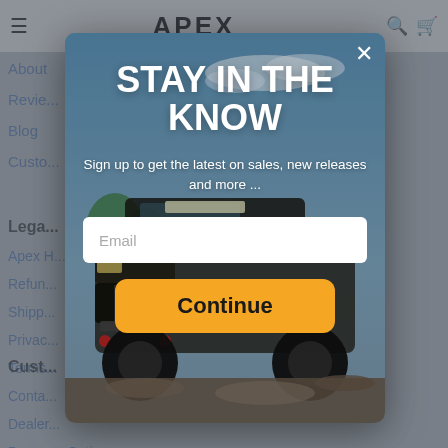APEX
About
Reviews
Blog
Custo...
Lega...
Apex H...
Refun...
Shipp...
Privac...
Terms...
Cust...
Conta...
Dealer...
Payment Options
[Figure (screenshot): Email signup modal popup over an e-commerce website (Apex Off-road). The modal has a background photo of a lifted Jeep on a rocky trail. It shows 'STAY IN THE KNOW' heading, subtitle 'Sign up to get the latest on sales, new releases and more ...', an email input field, and an orange 'Continue' button. A close (×) button is in the top right.]
STAY IN THE KNOW
Sign up to get the latest on sales, new releases and more ...
Email
Continue